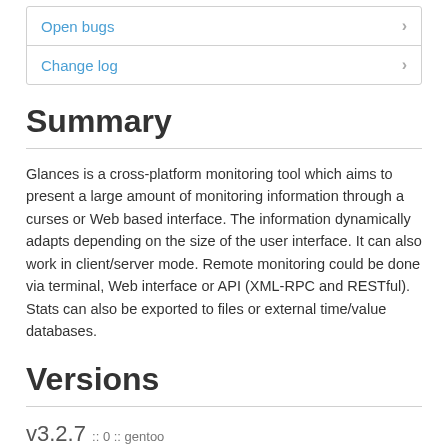Open bugs
Change log
Summary
Glances is a cross-platform monitoring tool which aims to present a large amount of monitoring information through a curses or Web based interface. The information dynamically adapts depending on the size of the user interface. It can also work in client/server mode. Remote monitoring could be done via terminal, Web interface or API (XML-RPC and RESTful). Stats can also be exported to files or external time/value databases.
Versions
v3.2.7 :: 0 :: gentoo